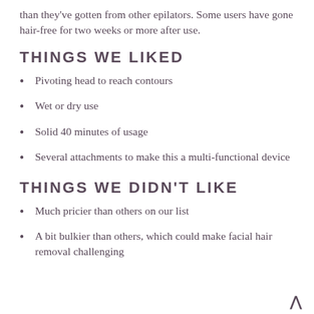than they've gotten from other epilators. Some users have gone hair-free for two weeks or more after use.
THINGS WE LIKED
Pivoting head to reach contours
Wet or dry use
Solid 40 minutes of usage
Several attachments to make this a multi-functional device
THINGS WE DIDN'T LIKE
Much pricier than others on our list
A bit bulkier than others, which could make facial hair removal challenging